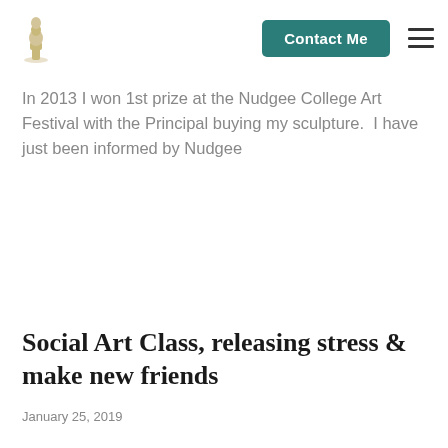Contact Me
In 2013 I won 1st prize at the Nudgee College Art Festival with the Principal buying my sculpture.  I have just been informed by Nudgee
Social Art Class, releasing stress & make new friends
January 25, 2019